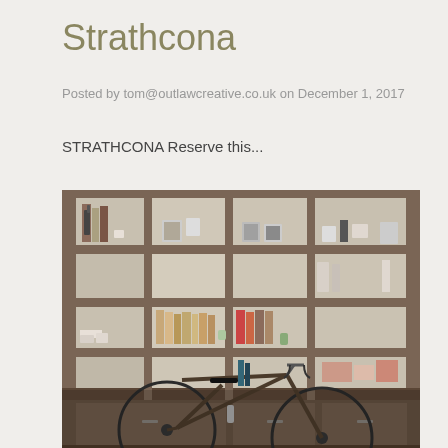Strathcona
Posted by tom@outlawcreative.co.uk on December 1, 2017
STRATHCONA Reserve this...
[Figure (photo): A large wooden shelving unit with multiple compartments arranged in a grid, containing books, small decorative items, and a glass bottle. In the foreground, a road bicycle with drop handlebars leans against the lower cabinet section.]